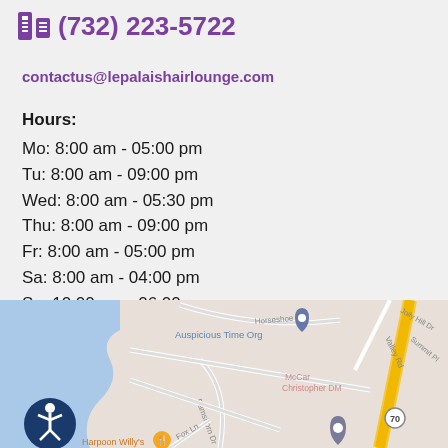(732) 223-5722
contactus@lepalaishairlounge.com
Hours:
Mo: 8:00 am - 05:00 pm
Tu: 8:00 am - 09:00 pm
Wed: 8:00 am - 05:30 pm
Thu: 8:00 am - 09:00 pm
Fr: 8:00 am - 05:00 pm
Sa: 8:00 am - 04:00 pm
Su: 10:00 am - 06:00 pm
[Figure (map): Google Maps screenshot showing the location of Le Palais Hair Lounge near Route 70, with nearby landmarks including Auspicious Time Org, McCar Christopher DM, Harpoon Willy's, and streets including Horseshoe Dr, Ramshorn Dr, Fox Ln, Valley Rd, Jolly Hill Dr, and Summit Pl.]